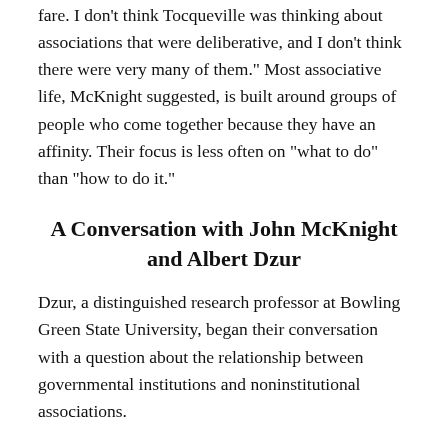fare. I don’t think Tocqueville was thinking about associations that were deliberative, and I don’t think there were very many of them.” Most associative life, McKnight suggested, is built around groups of people who come together because they have an affinity. Their focus is less often on “what to do” than “how to do it.”
A Conversation with John McKnight and Albert Dzur
Dzur, a distinguished research professor at Bowling Green State University, began their conversation with a question about the relationship between governmental institutions and noninstitutional associations.
John McKnight: I’ve written a paper, called “Re-functioning,” and it describes how functions that are now performed by institutions have grown and grown resulting